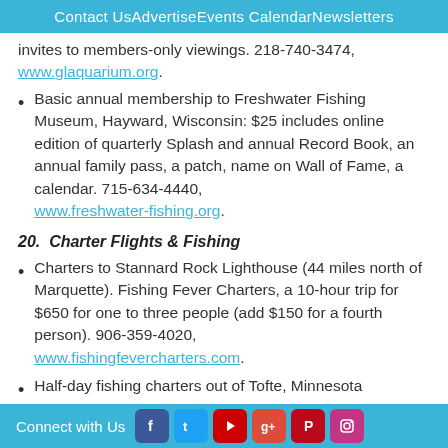Contact Us   Advertise   Events Calendar   Newsletters
invites to members-only viewings. 218-740-3474, www.glaquarium.org.
Basic annual membership to Freshwater Fishing Museum, Hayward, Wisconsin: $25 includes online edition of quarterly Splash and annual Record Book, an annual family pass, a patch, name on Wall of Fame, a calendar. 715-634-4440, www.freshwater-fishing.org.
20.  Charter Flights & Fishing
Charters to Stannard Rock Lighthouse (44 miles north of Marquette). Fishing Fever Charters, a 10-hour trip for $650 for one to three people (add $150 for a fourth person). 906-359-4020, www.fishingfevercharters.com.
Half-day fishing charters out of Tofte, Minnesota
Connect with Us